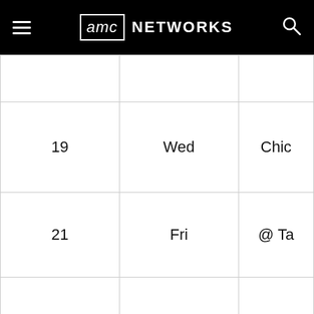aMC NETWORKS
| Day | Weekday | Event |
| --- | --- | --- |
|  |  |  |
| 19 | Wed | Chic... |
| 21 | Fri | @ Ta... |
| 22 | Sat | @ Ta... |
|  |  |  |